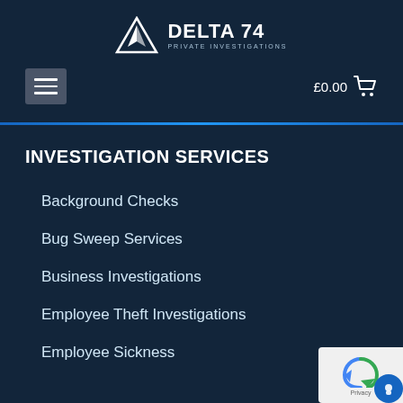[Figure (logo): Delta 74 Private Investigations logo — white triangle/mountain icon with DELTA 74 text and PRIVATE INVESTIGATIONS subtitle]
£0.00 cart
INVESTIGATION SERVICES
Background Checks
Bug Sweep Services
Business Investigations
Employee Theft Investigations
Employee Sickness